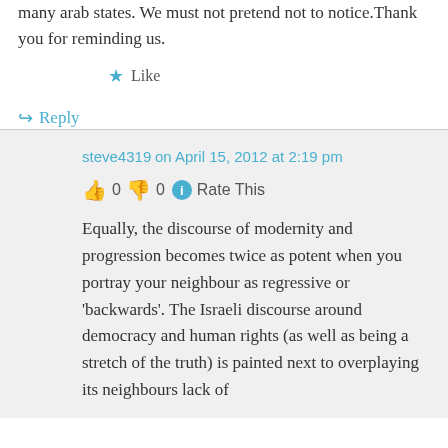many arab states. We must not pretend not to notice.Thank you for reminding us.
★ Like
↪ Reply
steve4319 on April 15, 2012 at 2:19 pm
👍 0 👎 0 ℹ Rate This
Equally, the discourse of modernity and progression becomes twice as potent when you portray your neighbour as regressive or 'backwards'. The Israeli discourse around democracy and human rights (as well as being a stretch of the truth) is painted next to overplaying its neighbours lack of